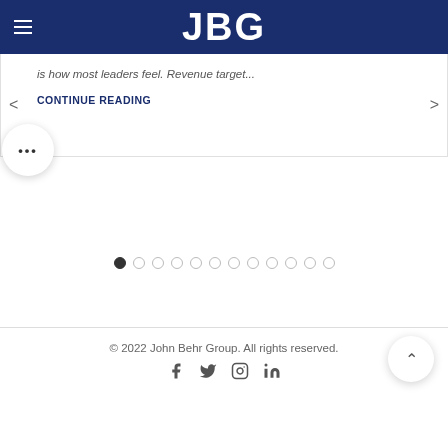JBG
is how most leaders feel. Revenue target...
CONTINUE READING
[Figure (other): Carousel navigation dots, 12 total with first one filled/active]
© 2022 John Behr Group. All rights reserved.
[Figure (other): Social media icons: Facebook, Twitter, Instagram, LinkedIn]